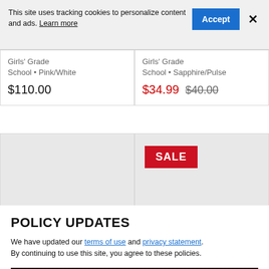This site uses tracking cookies to personalize content and ads. Learn more
Girls' Grade School • Pink/White
$110.00
Girls' Grade School • Sapphire/Pulse
$34.99  $40.00
[Figure (other): Empty product image cell (left)]
[Figure (other): Product image cell with red SALE badge]
POLICY UPDATES
We have updated our terms of use and privacy statement. By continuing to use this site, you agree to these policies.
I AGREE